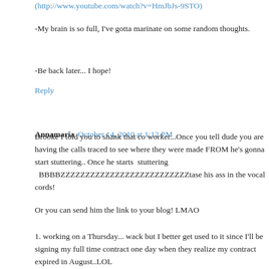(http://www.youtube.com/watch?v=HmJbJs-9STO)
-My brain is so full, I've gotta marinate on some random thoughts.
-Be back later... I hope!
Reply
Annamaria  October 14, 2010 at 1:12 PM
Brooke I told you to shank that co worker...Once you tell dude you are having the calls traced to see where they were made FROM he's gonna start stuttering.. Once he starts stuttering BBBBZZZZZZZZZZZZZZZZZZZZZZZZZZ tase his ass in the vocal cords!
Or you can send him the link to your blog! LMAO
1. working on a Thursday... wack but I better get used to it since I'll be signing my full time contract one day when they realize my contract expired in August..LOL